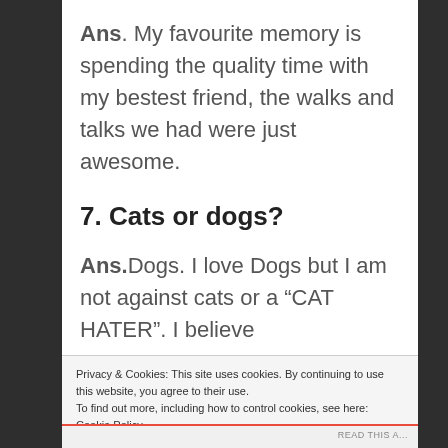Ans. My favourite memory is spending the quality time with my bestest friend, the walks and talks we had were just awesome.
7. Cats or dogs?
Ans.Dogs. I love Dogs but I am not against cats or a “CAT HATER”. I believe
Privacy & Cookies: This site uses cookies. By continuing to use this website, you agree to their use.
To find out more, including how to control cookies, see here: Cookie Policy